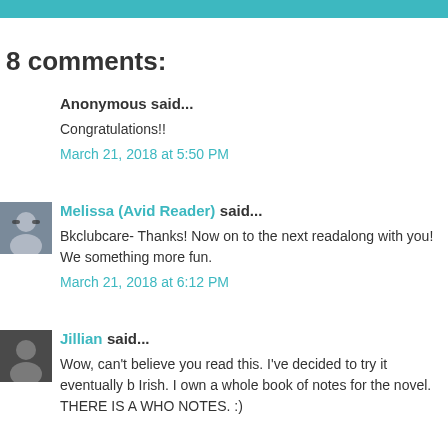8 comments:
Anonymous said...
Congratulations!!
March 21, 2018 at 5:50 PM
Melissa (Avid Reader) said...
Bkclubcare- Thanks! Now on to the next readalong with you! We something more fun.
March 21, 2018 at 6:12 PM
Jillian said...
Wow, can't believe you read this. I've decided to try it eventually b Irish. I own a whole book of notes for the novel. THERE IS A WHO NOTES. :)